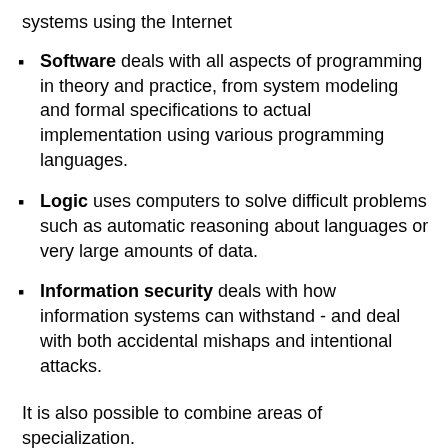systems using the Internet
Software deals with all aspects of programming in theory and practice, from system modeling and formal specifications to actual implementation using various programming languages.
Logic uses computers to solve difficult problems such as automatic reasoning about languages or very large amounts of data.
Information security deals with how information systems can withstand - and deal with both accidental mishaps and intentional attacks.
It is also possible to combine areas of specialization.